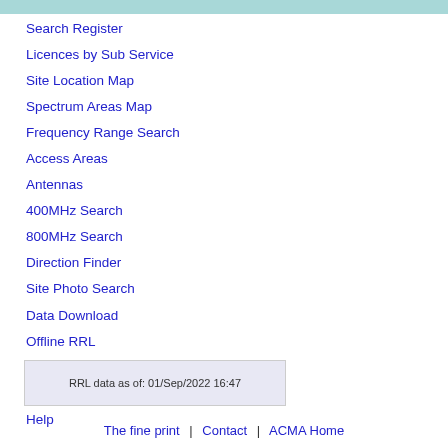Search Register
Licences by Sub Service
Site Location Map
Spectrum Areas Map
Frequency Range Search
Access Areas
Antennas
400MHz Search
800MHz Search
Direction Finder
Site Photo Search
Data Download
Offline RRL
RRL Archive
Class Licences
Help
RRL data as of: 01/Sep/2022 16:47
The fine print | Contact | ACMA Home